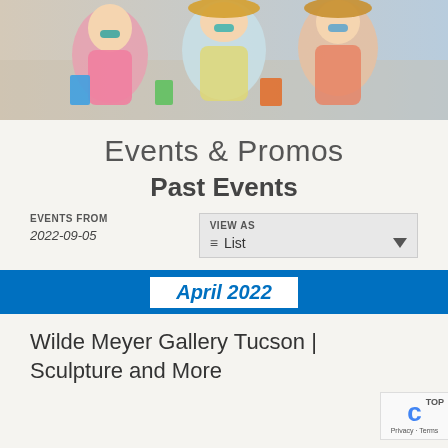[Figure (photo): Banner photo of three young women smiling, wearing colorful summer clothes and sunglasses, carrying shopping bags outdoors]
Events & Promos
Past Events
EVENTS FROM
2022-09-05
VIEW AS
List
April 2022
Wilde Meyer Gallery Tucson | Sculpture and More